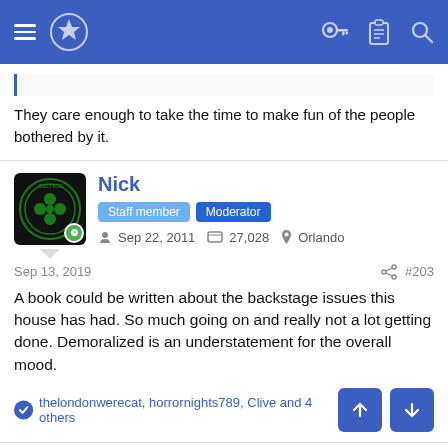Navigation bar with hamburger menu, globe icon, key, clipboard, and search icons
They care enough to take the time to make fun of the people bothered by it.
Nick
Staff member | Moderator
Sep 22, 2011  27,028  Orlando
Sep 13, 2019  #203
A book could be written about the backstage issues this house has had. So much going on and really not a lot getting done. Demoralized is an understatement for the overall mood.
thelondonwerecat, horrornights789, Clive and 4 others
MartyMcFly
Rookie